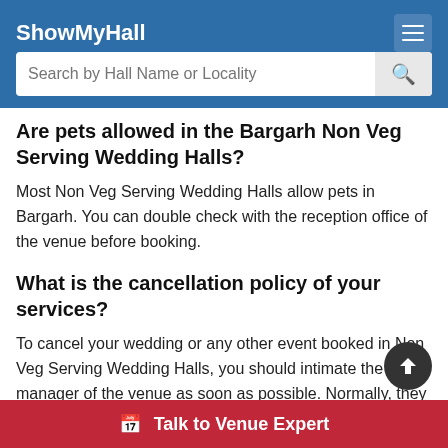ShowMyHall
Are pets allowed in the Bargarh Non Veg Serving Wedding Halls?
Most Non Veg Serving Wedding Halls allow pets in Bargarh. You can double check with the reception office of the venue before booking.
What is the cancellation policy of your services?
To cancel your wedding or any other event booked in Non Veg Serving Wedding Halls, you should intimate the manager of the venue as soon as possible. Normally, they have well defined cancellation rates based on how many days before the function date you inform them about the cancellation. Most Non Veg Serving Wedding Halls in Bargarh would not refund you anything if you inform t…
Talk to Venue Expert